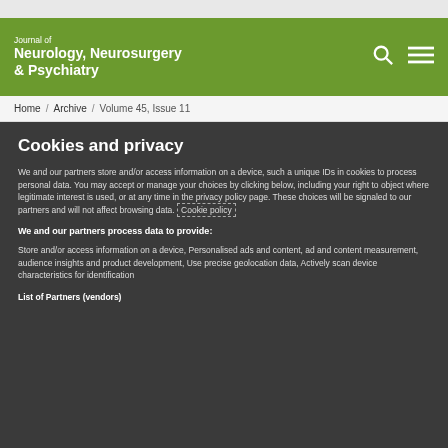Journal of Neurology, Neurosurgery & Psychiatry
Home / Archive / Volume 45, Issue 11
Cookies and privacy
We and our partners store and/or access information on a device, such a unique IDs in cookies to process personal data. You may accept or manage your choices by clicking below, including your right to object where legitimate interest is used, or at any time in the privacy policy page. These choices will be signaled to our partners and will not affect browsing data. Cookie policy
We and our partners process data to provide:
Store and/or access information on a device, Personalised ads and content, ad and content measurement, audience insights and product development, Use precise geolocation data, Actively scan device characteristics for identification
List of Partners (vendors)